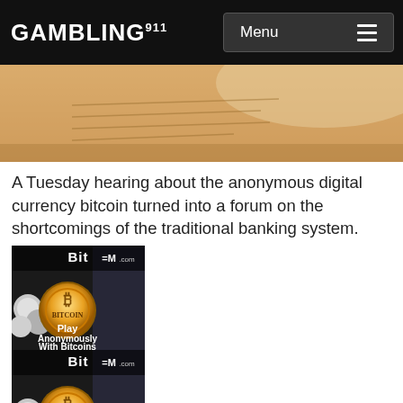GAMBLING911
[Figure (photo): Close-up photo of paper documents with handwriting, warm beige/amber tones]
A Tuesday hearing about the anonymous digital currency bitcoin turned into a forum on the shortcomings of the traditional banking system.
[Figure (photo): BitBM.com advertisement banner — gold Bitcoin coin with text: Play Anonymously With Bitcoins, referee in background]
[Figure (photo): BitBM.com advertisement banner (second instance) — gold Bitcoin coin with text: Play Anonymously With Bitcoins, referee in background]